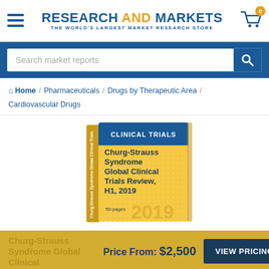RESEARCH AND MARKETS — THE WORLD'S LARGEST MARKET RESEARCH STORE
Search market reports
Home / Pharmaceuticals / Drugs by Therapeutic Area / Cardiovascular Drugs
[Figure (illustration): Book cover for 'Churg-Strauss Syndrome Global Clinical Trials Review, H1, 2019' — yellow cover with blue 'Clinical Trials' banner, 50 pages, 2019]
Price From: $2,500
VIEW PRICING
Churg-Strauss Syndrome Global Clinical Trials Review, H1, 2019